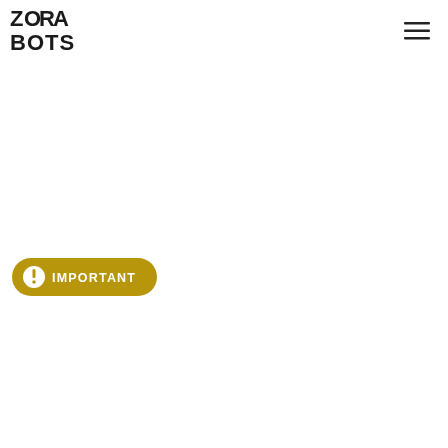[Figure (logo): ZORA BOTS logo in black bold text with stylized lettering]
[Figure (other): Hamburger menu icon (three horizontal lines) in dark color, top right corner]
[Figure (other): Gold/yellow rounded badge button with white exclamation mark circle and text IMPORTANT]